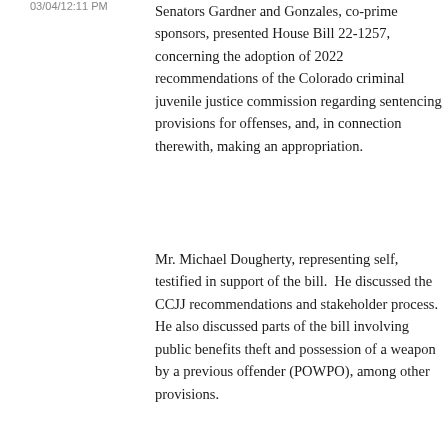03/04/12:11 PM
Senators Gardner and Gonzales, co-prime sponsors, presented House Bill 22-1257, concerning the adoption of 2022 recommendations of the Colorado criminal juvenile justice commission regarding sentencing provisions for offenses, and, in connection therewith, making an appropriation.
Mr. Michael Dougherty, representing self, testified in support of the bill. He discussed the CCJJ recommendations and stakeholder process. He also discussed parts of the bill involving public benefits theft and possession of a weapon by a previous offender (POWPO), among other provisions.